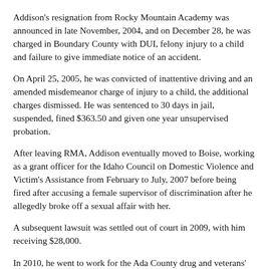Addison's resignation from Rocky Mountain Academy was announced in late November, 2004, and on December 28, he was charged in Boundary County with DUI, felony injury to a child and failure to give immediate notice of an accident.
On April 25, 2005, he was convicted of inattentive driving and an amended misdemeanor charge of injury to a child, the additional charges dismissed. He was sentenced to 30 days in jail, suspended, fined $363.50 and given one year unsupervised probation.
After leaving RMA, Addison eventually moved to Boise, working as a grant officer for the Idaho Council on Domestic Violence and Victim's Assistance from February to July, 2007 before being fired after accusing a female supervisor of discrimination after he allegedly broke off a sexual affair with her.
A subsequent lawsuit was settled out of court in 2009, with him receiving $28,000.
In 2010, he went to work for the Ada County drug and veterans' courts until allegations were raised of sexual impropriety in 2014 and he was fired, though no criminal charges were brought. His 2015 lawsuit against Ada County, which includes allegations that he was sexually discriminated against because he is a man and that